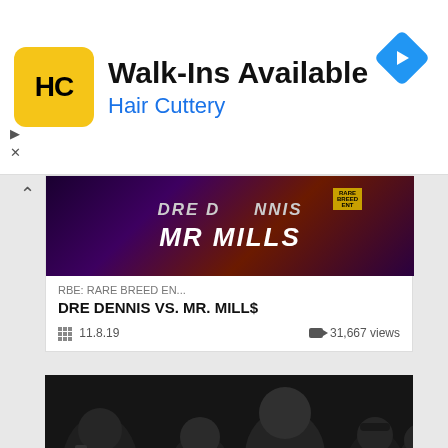[Figure (screenshot): Hair Cuttery advertisement banner with yellow HC logo, 'Walk-Ins Available' headline, 'Hair Cuttery' subtext in blue, and a blue navigation diamond icon. Play and close controls at bottom left.]
[Figure (screenshot): Video card showing 'RBE: RARE BREED EN...' series, title 'DRE DENNIS VS. MR. MILL$', date 11.8.19, 31,667 views, with dark purple/orange battle rap thumbnail showing 'DRE DENNIS' and 'MR MILLS' text.]
[Figure (photo): Black and white photograph of several people in a venue, foreground shows a person in a white t-shirt with 'DAWG' printed on it, background shows others and a sign reading 'Ma...i's'.]